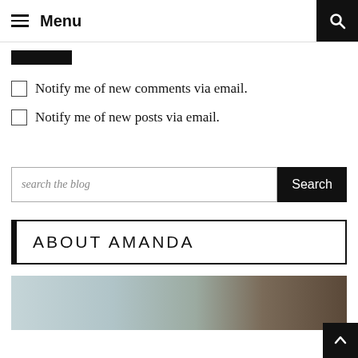≡ Menu
[Figure (other): Black submit/post comment button (partially visible, cropped)]
Notify me of new comments via email.
Notify me of new posts via email.
search the blog
ABOUT AMANDA
[Figure (photo): Partial photo of a person (Amanda) with brown hair, partially visible at bottom of page]